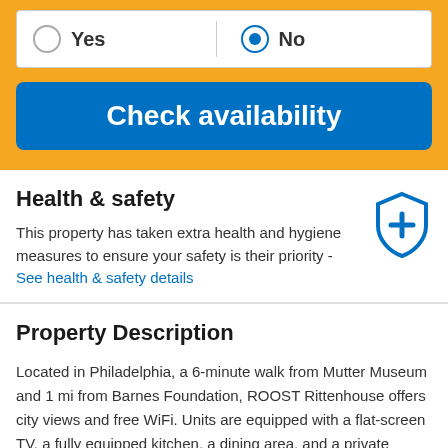Yes (unselected) / No (selected) — radio buttons
Check availability
Health & safety
This property has taken extra health and hygiene measures to ensure your safety is their priority - See health & safety details
Property Description
Located in Philadelphia, a 6-minute walk from Mutter Museum and 1 mi from Barnes Foundation, ROOST Rittenhouse offers city views and free WiFi. Units are equipped with a flat-screen TV, a fully equipped kitchen, a dining area, and a private bathroom. A …